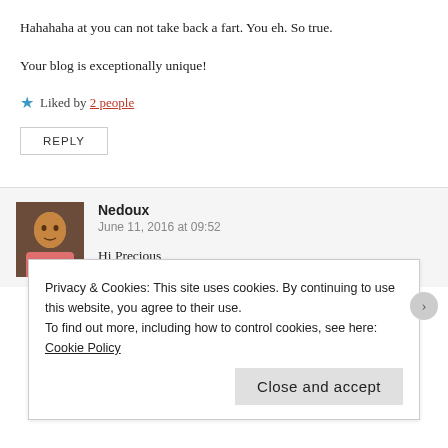Hahahaha at you can not take back a fart. You eh. So true.
Your blog is exceptionally unique!
Liked by 2 people
REPLY
Nedoux
June 11, 2016 at 09:52
Hi Precious,
Privacy & Cookies: This site uses cookies. By continuing to use this website, you agree to their use. To find out more, including how to control cookies, see here: Cookie Policy
Close and accept